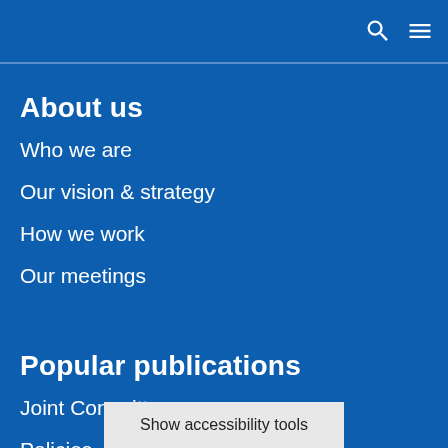About us
Who we are
Our vision & strategy
How we work
Our meetings
Popular publications
Joint Committee papers
Policies, strategies and plans
Patient and
Show accessibility tools